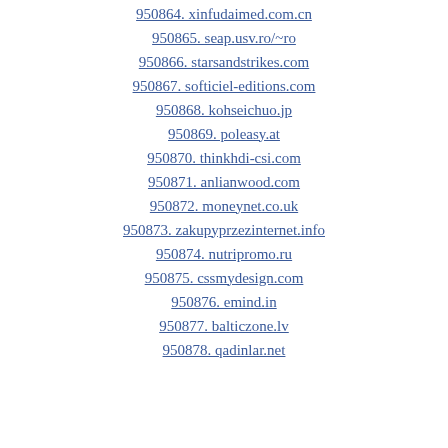950864. xinfudaimed.com.cn
950865. seap.usv.ro/~ro
950866. starsandstrikes.com
950867. softiciel-editions.com
950868. kohseichuo.jp
950869. poleasy.at
950870. thinkhdi-csi.com
950871. anlianwood.com
950872. moneynet.co.uk
950873. zakupyprzezinternet.info
950874. nutripromo.ru
950875. cssmydesign.com
950876. emind.in
950877. balticzone.lv
950878. qadinlar.net